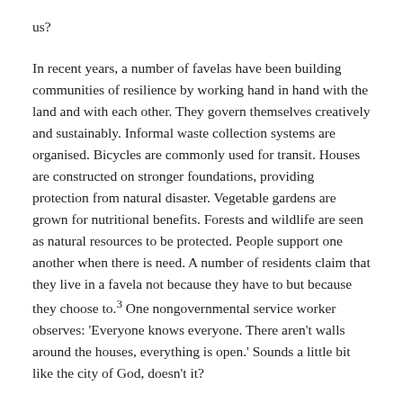us?
In recent years, a number of favelas have been building communities of resilience by working hand in hand with the land and with each other. They govern themselves creatively and sustainably. Informal waste collection systems are organised. Bicycles are commonly used for transit. Houses are constructed on stronger foundations, providing protection from natural disaster. Vegetable gardens are grown for nutritional benefits. Forests and wildlife are seen as natural resources to be protected. People support one another when there is need. A number of residents claim that they live in a favela not because they have to but because they choose to.³ One nongovernmental service worker observes: 'Everyone knows everyone. There aren't walls around the houses, everything is open.' Sounds a little bit like the city of God, doesn't it?
However, it will be challenging for favelas to develop some other components of SDG 11 if they continue to be neglected by their municipal governments. Let's continue to live in hope that increasing support will be given to disenfranchised communities and